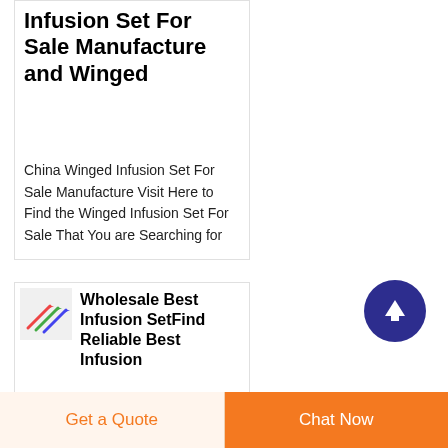Infusion Set For Sale Manufacture and Winged
China Winged Infusion Set For Sale Manufacture Visit Here to Find the Winged Infusion Set For Sale That You are Searching for
[Figure (illustration): Small thumbnail image of infusion set needles/syringes with colorful wings]
Wholesale Best Infusion SetFind Reliable Best Infusion
Wholesale best infusion set products from best infusion set suppliers...
[Figure (other): Dark blue circular scroll-to-top button with upward arrow]